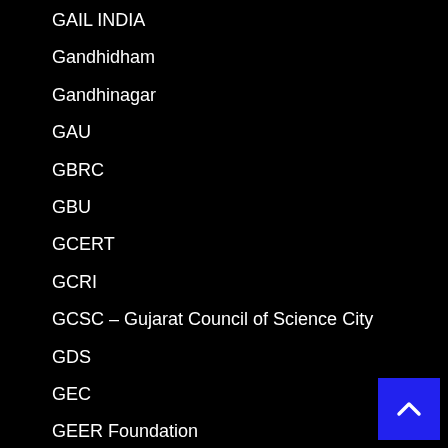GAIL INDIA
Gandhidham
Gandhinagar
GAU
GBRC
GBU
GCERT
GCRI
GCSC – Gujarat Council of Science City
GDS
GEC
GEER Foundation
GEMI – GUJARAT ENVIRONMENT MANAGEMENT INSTITUTE
General Hopital Recruitment 2020
General Hospital Job